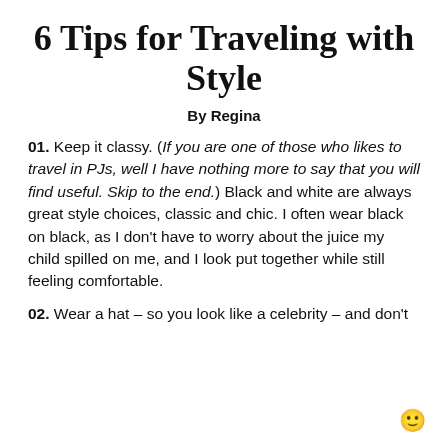6 Tips for Traveling with Style
By Regina
01. Keep it classy. (If you are one of those who likes to travel in PJs, well I have nothing more to say that you will find useful. Skip to the end.) Black and white are always great style choices, classic and chic. I often wear black on black, as I don't have to worry about the juice my child spilled on me, and I look put together while still feeling comfortable.
02. Wear a hat – so you look like a celebrity – and don't